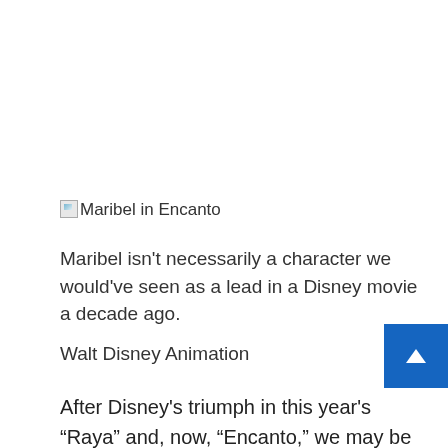[Figure (photo): Broken image placeholder with alt text 'Maribel in Encanto']
Maribel isn't necessarily a character we would've seen as a lead in a Disney movie a decade ago.
Walt Disney Animation
After Disney's triumph in this year's “Raya” and, now, “Encanto,” we may be at the dawn of a new era of Disney classics. We're certainly in a new era of what a Disney princess heroine looks like.